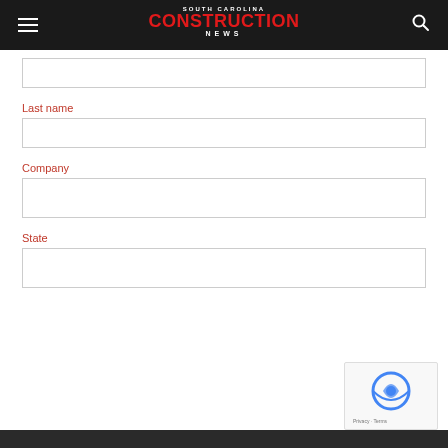South Carolina Construction News
Last name
Company
State
Subscribe